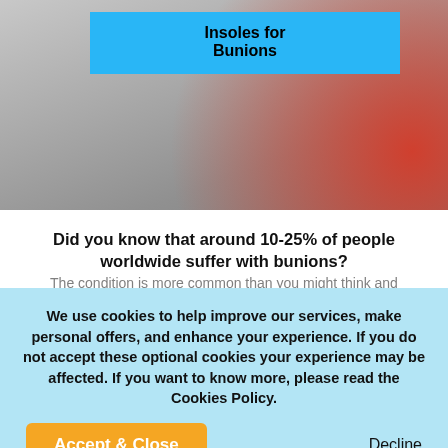[Figure (photo): Close-up photo of a foot with a bunion highlighted in red/pain indicator on the big toe joint, grayscale background]
Insoles for Bunions
Did you know that around 10-25% of people worldwide suffer with bunions?
We use cookies to help improve our services, make personal offers, and enhance your experience. If you do not accept these optional cookies your experience may be affected. If you want to know more, please read the Cookies Policy.
Accept & Close
Decline